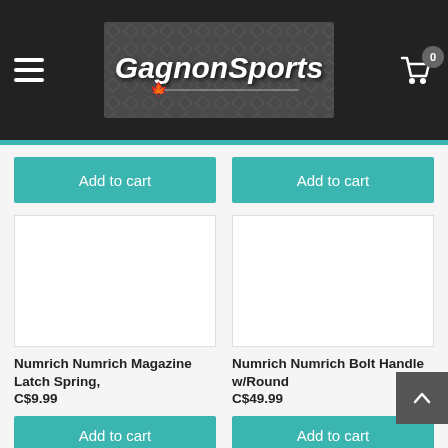GagnonSports website header with logo, hamburger menu, and cart icon showing 0 items
Add to cart
Add to cart
[Figure (photo): Product image placeholder for Numrich Magazine Latch Spring]
[Figure (photo): Product image placeholder for Numrich Bolt Handle w/Round]
Numrich Numrich Magazine Latch Spring, C$9.99
Numrich Numrich Bolt Handle w/Round C$49.99
Add to cart
Add to cart